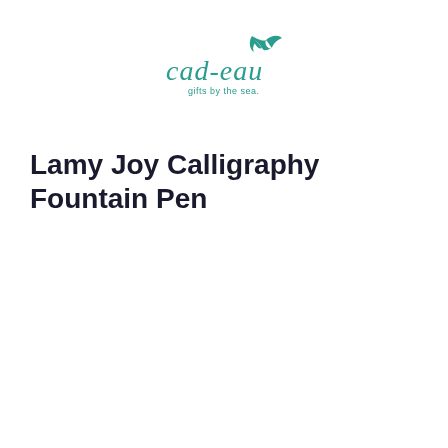[Figure (logo): cad-eau logo with stylized swallow bird and tagline 'gifts by the sea']
Lamy Joy Calligraphy Fountain Pen